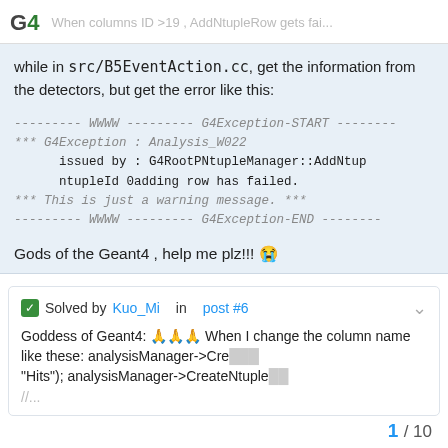G4 — When columns ID >19 , AddNtupleRow gets fai...
while in src/B5EventAction.cc, get the information from the detectors, but get the error like this:
--------- WWWW --------- G4Exception-START --------
*** G4Exception : Analysis_W022
      issued by : G4RootPNtupleManager::AddNtup
      ntupleId 0adding row has failed.
*** This is just a warning message. ***
--------- WWWW --------- G4Exception-END --------
Gods of the Geant4 , help me plz!!! 😭
✅ Solved by Kuo_Mi in post #6
Goddess of Geant4: 🙏🙏🙏 When I change the column name like these: analysisManager->Cre... "Hits"); analysisManager->CreateNtuple...
1 / 10